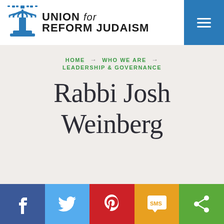Union for Reform Judaism
HOME → WHO WE ARE → LEADERSHIP & GOVERNANCE
Rabbi Josh Weinberg
Facebook, Twitter, Pinterest, SMS, Share